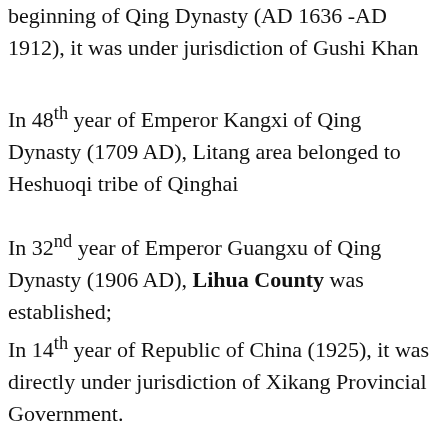beginning of Qing Dynasty (AD 1636 -AD 1912), it was under jurisdiction of Gushi Khan
In 48th year of Emperor Kangxi of Qing Dynasty (1709 AD), Litang area belonged to Heshuoqi tribe of Qinghai
In 32nd year of Emperor Guangxu of Qing Dynasty (1906 AD), Lihua County was established;
In 14th year of Republic of China (1925), it was directly under jurisdiction of Xikang Provincial Government.